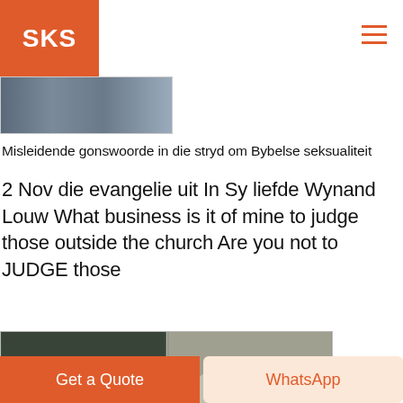SKS
[Figure (photo): Partial industrial/factory image visible at top]
Misleidende gonswoorde in die stryd om Bybelse seksualiteit
2 Nov die evangelie uit In Sy liefde Wynand Louw What business is it of mine to judge those outside the church Are you not to JUDGE those
[Figure (photo): Industrial motor or bearing component with yellow center]
[Figure (photo): Pile of gravel or aggregate material]